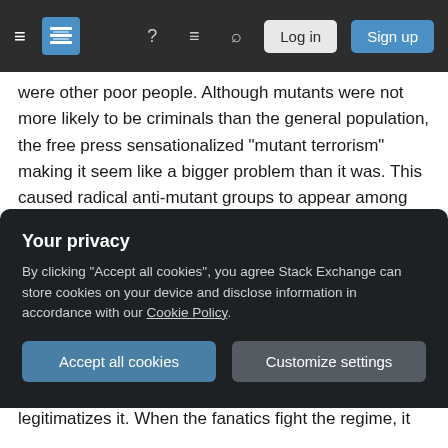Stack Exchange navigation bar with hamburger menu, logo, help icon, chat icon, search icon, Log in button, Sign up button
were other poor people. Although mutants were not more likely to be criminals than the general population, the free press sensationalized “mutant terrorism” making it seem like a bigger problem than it was. This caused radical anti-mutant groups to appear among the working class, which fed into the cycle of violence.
The dictatorship established itself amidst the crisis, riding the wave of anti-mutant populism into power. However, even though the dictatorship is squarely anti-mutant, it is still a government which needs to
Your privacy
By clicking “Accept all cookies”, you agree Stack Exchange can store cookies on your device and disclose information in accordance with our Cookie Policy.
Accept all cookies
Customize settings
legitimatizes it. When the fanatics fight the regime, it